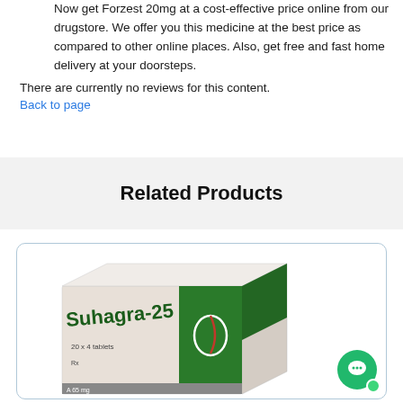Now get Forzest 20mg at a cost-effective price online from our drugstore. We offer you this medicine at the best price as compared to other online places. Also, get free and fast home delivery at your doorsteps.
There are currently no reviews for this content.
Back to page
Related Products
[Figure (photo): Product card showing a box of Suhagra-25 (20 x 4 tablets, medicine packaging with green and white design) with a green chat support button in the bottom right corner.]